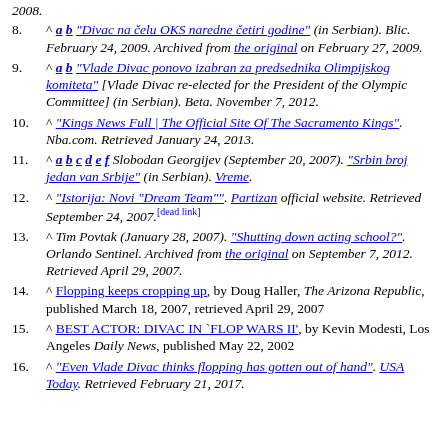(partial top) 2008.
^ a b "Divac na čelu OKS naredne četiri godine" (in Serbian). Blic. February 24, 2009. Archived from the original on February 27, 2009.
^ a b "Vlade Divac ponovo izabran za predsednika Olimpijskog komiteta" [Vlade Divac re-elected for the President of the Olympic Committee] (in Serbian). Beta. November 7, 2012.
^ "Kings News Full | The Official Site Of The Sacramento Kings". Nba.com. Retrieved January 24, 2013.
^ a b c d e f Slobodan Georgijev (September 20, 2007). "Srbin broj jedan van Srbije" (in Serbian). Vreme.
^ "Istorija: Novi "Dream Team"". Partizan official website. Retrieved September 24, 2007.[dead link]
^ Tim Povtak (January 28, 2007). "Shutting down acting school?". Orlando Sentinel. Archived from the original on September 7, 2012. Retrieved April 29, 2007.
^ Flopping keeps cropping up, by Doug Haller, The Arizona Republic, published March 18, 2007, retrieved April 29, 2007
^ BEST ACTOR: DIVAC IN `FLOP WARS II', by Kevin Modesti, Los Angeles Daily News, published May 22, 2002
^ "Even Vlade Divac thinks flopping has gotten out of hand". USA Today. Retrieved February 21, 2017.